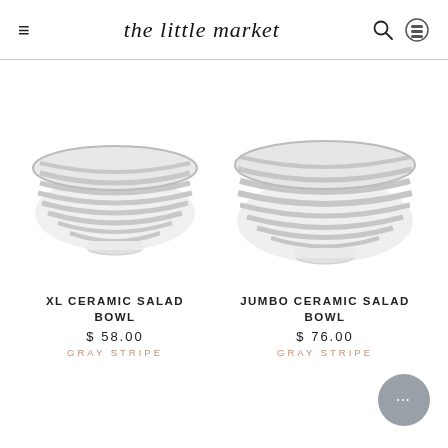the little market
[Figure (photo): XL Ceramic Salad Bowl with gray stripe pattern on white background]
XL CERAMIC SALAD BOWL
$ 58.00
GRAY STRIPE
[Figure (photo): Jumbo Ceramic Salad Bowl with gray stripe pattern on white background]
JUMBO CERAMIC SALAD BOWL
$ 76.00
GRAY STRIPE